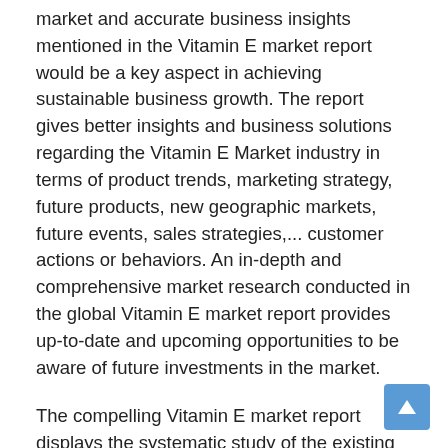market and accurate business insights mentioned in the Vitamin E market report would be a key aspect in achieving sustainable business growth. The report gives better insights and business solutions regarding the Vitamin E Market industry in terms of product trends, marketing strategy, future products, new geographic markets, future events, sales strategies,... customer actions or behaviors. An in-depth and comprehensive market research conducted in the global Vitamin E market report provides up-to-date and upcoming opportunities to be aware of future investments in the market.
The compelling Vitamin E market report displays the systematic study of the existing market scenario which considers several market dynamics. Careful efforts accompanied by integrated approaches yield the result of an excellent market research report that guides the decision-making process of the company. This market study also assesses the market status, market share, growth rate, sales volume, future trends, market drivers, market restraints,